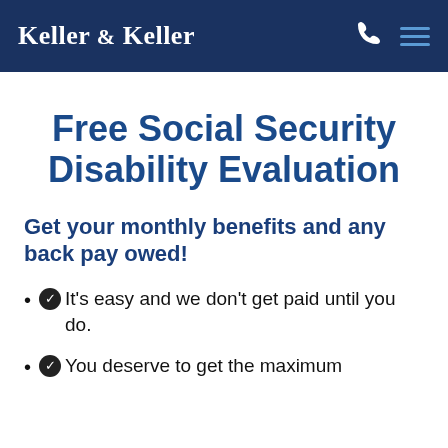Keller & Keller
Free Social Security Disability Evaluation
Get your monthly benefits and any back pay owed!
It's easy and we don't get paid until you do.
You deserve to get the maximum